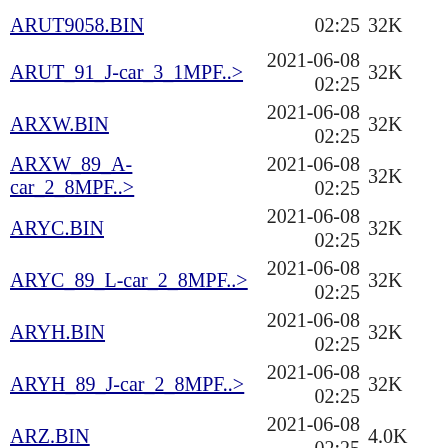ARUT9058.BIN  2021-06-08 02:25  32K
ARUT_91_J-car_3_1MPF..>  2021-06-08 02:25  32K
ARXW.BIN  2021-06-08 02:25  32K
ARXW_89_A-car_2_8MPF..>  2021-06-08 02:25  32K
ARYC.BIN  2021-06-08 02:25  32K
ARYC_89_L-car_2_8MPF..>  2021-06-08 02:25  32K
ARYH.BIN  2021-06-08 02:25  32K
ARYH_89_J-car_2_8MPF..>  2021-06-08 02:25  32K
ARZ.BIN  2021-06-08 02:25  4.0K
ARZW_89_W-car_3_1MPF..>  2021-06-08 02:25  32K
ASAX_91_N-car_2_5TBI..>  2021-06-08 02:25  16K
ASA_86_S-truck_2_8TB..>  2021-06-08 02:25  4.0K